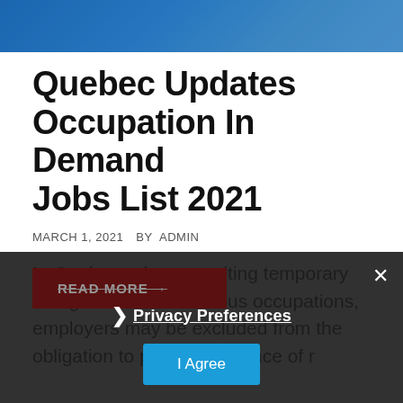[Figure (photo): Blue Quebec flags banner header image]
Quebec Updates Occupation In Demand Jobs List 2021
MARCH 1, 2021  BY ADMIN
In Quebec, when recruiting temporary foreign workers in various occupations, employers may be excluded from the obligation to provide evidence of r
READ MORE →
× Privacy Preferences I Agree